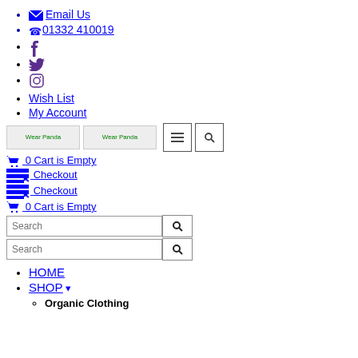Email Us
01332 410019
[Facebook icon]
[Twitter icon]
[Instagram icon]
Wish List
My Account
[Figure (logo): Wear Panda logo (appears twice side by side)]
0 Cart is Empty
Checkout
Checkout
0 Cart is Empty
Search (input 1)
Search (input 2)
HOME
SHOP
Organic Clothing